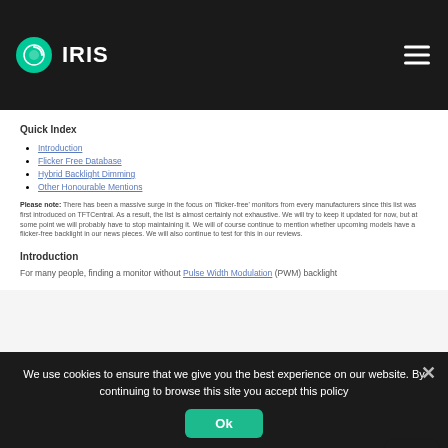IRIS
Quick Index
Introduction
Flicker Free Database
Hybrid Backlight Dimming
Other Honourable Mentions
Please note: There has been a massive surge in the focus on 'flicker-free' monitors from every manufacturers since this list was first introduced on TFTCentral. As a result, the list is almost certainly not exhaustive. We will try to keep it updated for now, but at some point we will probably have to stop maintaining it. We will of course continue to mention whether upcoming models have a flicker-free backlight in our news pieces. We will also continue to test for this in our reviews.
Introduction
For many people, finding a monitor without Pulse Width Modulation (PWM) backlight
Monitors   April 2, 2016
Flicker Free Monitors
We use cookies to ensure that we give you the best experience on our website. By continuing to browse this site you accept this policy